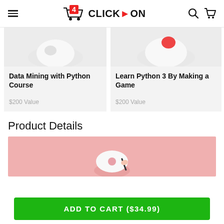4 CLICK ON
[Figure (other): Product card image for Data Mining with Python Course – white/light object on grey background]
Data Mining with Python Course
$200 Value
[Figure (other): Product card image for Learn Python 3 By Making a Game – white object with red accent on grey background]
Learn Python 3 By Making a Game
$200 Value
Product Details
[Figure (photo): Product detail banner image – hand holding object on pink/salmon background]
ADD TO CART ($34.99)